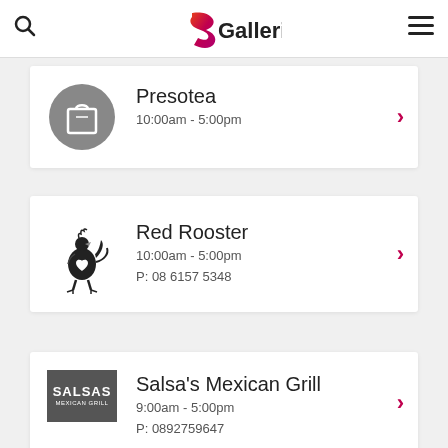Galleria
Presotea
10:00am - 5:00pm
Red Rooster
10:00am - 5:00pm
P: 08 6157 5348
Salsa's Mexican Grill
9:00am - 5:00pm
P: 0892759647